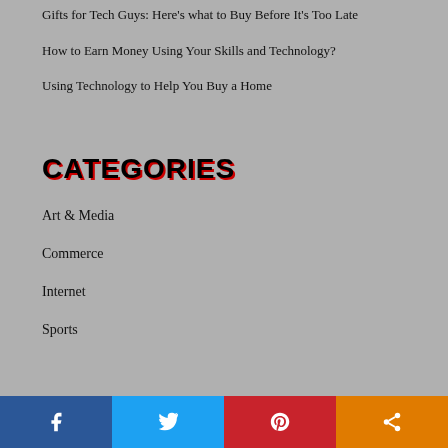Gifts for Tech Guys: Here's what to Buy Before It's Too Late
How to Earn Money Using Your Skills and Technology?
Using Technology to Help You Buy a Home
CATEGORIES
Art & Media
Commerce
Internet
Sports
[Figure (infographic): Social share bar with Facebook, Twitter, Pinterest, and generic share buttons]